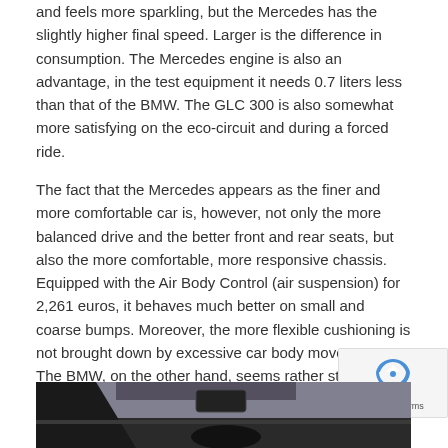and feels more sparkling, but the Mercedes has the slightly higher final speed. Larger is the difference in consumption. The Mercedes engine is also an advantage, in the test equipment it needs 0.7 liters less than that of the BMW. The GLC 300 is also somewhat more satisfying on the eco-circuit and during a forced ride.
The fact that the Mercedes appears as the finer and more comfortable car is, however, not only the more balanced drive and the better front and rear seats, but also the more comfortable, more responsive chassis. Equipped with the Air Body Control (air suspension) for 2,261 euros, it behaves much better on small and coarse bumps. Moreover, the more flexible cushioning is not brought down by excessive car body movements. The BMW, on the other hand, seems rather stiff and tart. Since it also carries uncomfortable seating furniture, the comfort evaluation goes to the GLC.
[Figure (photo): Interior photo of a car, showing dashboard and windshield area from driver perspective.]